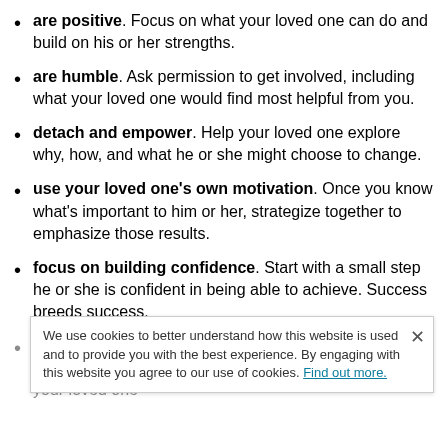are positive. Focus on what your loved one can do and build on his or her strengths.
are humble. Ask permission to get involved, including what your loved one would find most helpful from you.
detach and empower. Help your loved one explore why, how, and what he or she might choose to change.
use your loved one’s own motivation. Once you know what’s important to him or her, strategize together to emphasize those results.
focus on building confidence. Start with a small step he or she is confident in being able to achieve. Success breeds success.
listen carefully. Develop this and reduce defensiveness, think your loved one...
We use cookies to better understand how this website is used and to provide you with the best experience. By engaging with this website you agree to our use of cookies. Find out more.